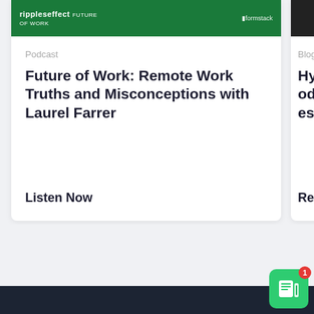[Figure (screenshot): Podcast card thumbnail with green background showing 'ripples effect future of work' and 'formstack' logos]
Podcast
Future of Work: Remote Work Truths and Misconceptions with Laurel Farrer
Listen Now
[Figure (screenshot): Partially visible blog card with dark image thumbnail]
Blog
Hybrid Mode Profes
Read
[Figure (logo): Formstack widget icon with green background and notification badge showing 1]